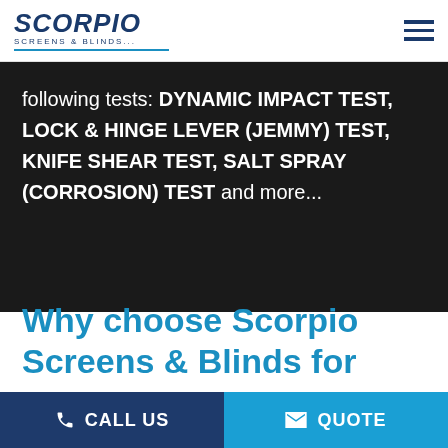SCORPIO SCREENS & BLINDS
following tests: DYNAMIC IMPACT TEST, LOCK & HINGE LEVER (JEMMY) TEST, KNIFE SHEAR TEST, SALT SPRAY (CORROSION) TEST and more...
Why choose Scorpio Screens & Blinds for
CALL US  QUOTE